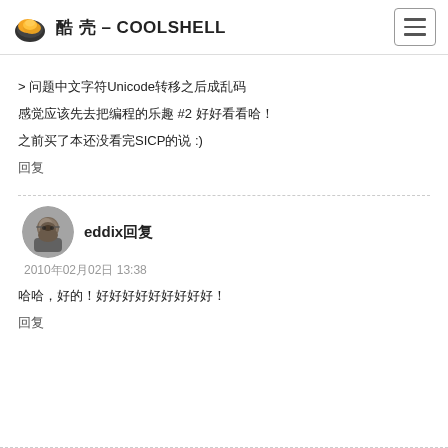酷 壳 – COOLSHELL
> 问题中文字符Unicode转移之后成乱码
感觉应该先去把编程的乐趣 #2 好好看看哈！
之前买了本还没看完SICP的说 :)
回复
eddix回复
2010年02月02日 13:38
哈哈，好的！好好好好好好好好好！
回复